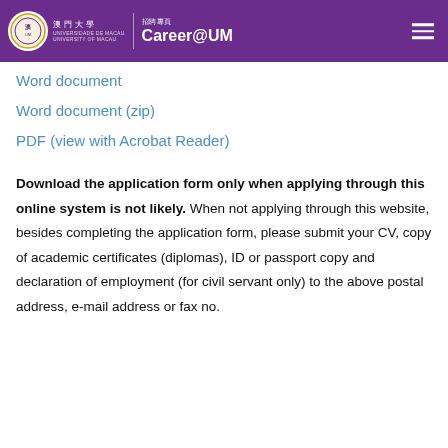澳門大學 / UNIVERSIDADE DE MACAU / UNIVERSITY OF MACAU | 招聘專頁 Career@UM
Word document
Word document (zip)
PDF (view with Acrobat Reader)
Download the application form only when applying through this online system is not likely. When not applying through this website, besides completing the application form, please submit your CV, copy of academic certificates (diplomas), ID or passport copy and declaration of employment (for civil servant only) to the above postal address, e-mail address or fax no.